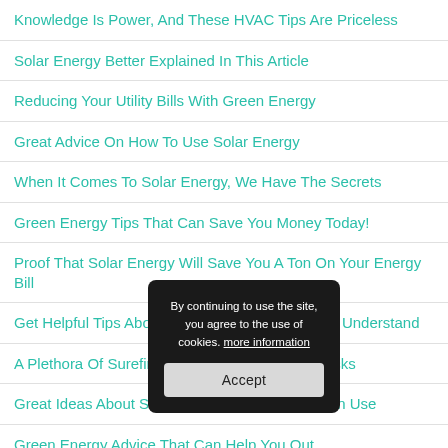Knowledge Is Power, And These HVAC Tips Are Priceless
Solar Energy Better Explained In This Article
Reducing Your Utility Bills With Green Energy
Great Advice On How To Use Solar Energy
When It Comes To Solar Energy, We Have The Secrets
Green Energy Tips That Can Save You Money Today!
Proof That Solar Energy Will Save You A Ton On Your Energy Bill
Get Helpful Tips About Home That Are Simple To Understand
A Plethora Of Surefire Solar Energy Tips And Tricks
Great Ideas About Solar Energy That Anyone Can Use
Green Energy Advice That Can Help You Out
By continuing to use the site, you agree to the use of cookies. more information
Accept